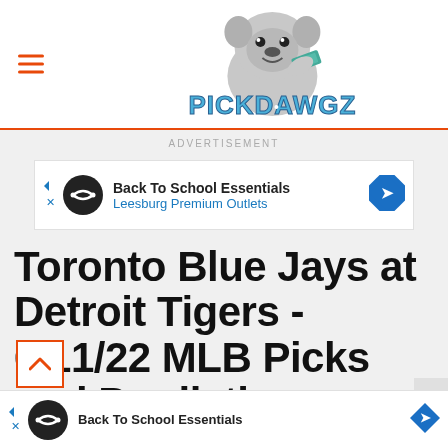[Figure (logo): PickDawgz logo: cartoon bulldog holding money with 'PICKDAWGZ' text in blue]
ADVERTISEMENT
[Figure (infographic): Advertisement banner: Back To School Essentials - Leesburg Premium Outlets]
Toronto Blue Jays at Detroit Tigers - 6/11/22 MLB Picks and Prediction
[Figure (infographic): Bottom advertisement banner: Back To School Essentials]